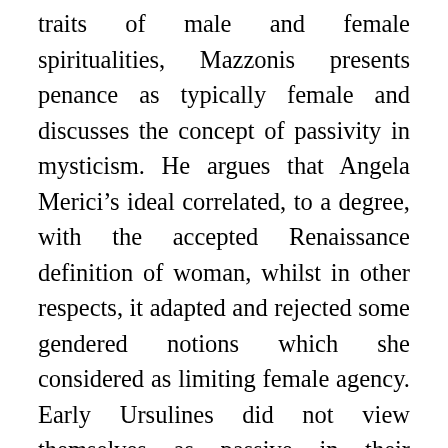traits of male and female spiritualities, Mazzonis presents penance as typically female and discusses the concept of passivity in mysticism. He argues that Angela Merici's ideal correlated, to a degree, with the accepted Renaissance definition of woman, whilst in other respects, it adapted and rejected some gendered notions which she considered as limiting female agency. Early Ursulines did not view themselves as passive in their contemplation but rather, through a process of identification with Christ's role, they envisaged themselves as active. Their contact with the divine was direct, without the intermediary of clergymen which Carlo